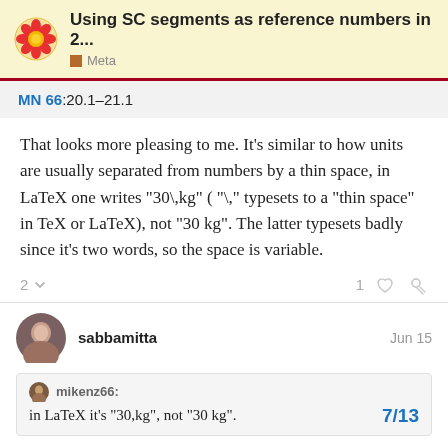Using SC segments as reference numbers in 2... | Meta
MN 66:20.1–21.1
That looks more pleasing to me. It's similar to how units are usually separated from numbers by a thin space, in LaTeX one writes "30\,kg" ( "\," typesets to a "thin space" in TeX or LaTeX), not "30 kg". The latter typesets badly since it's two words, so the space is variable.
sabbamitta   Jun 15
mikenz66:
in LaTeX it's "30,kg", not "30 kg".
7/13